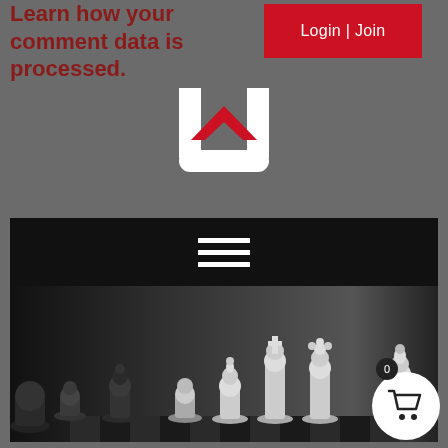Learn how your comment data is processed.
Login | Join
[Figure (logo): White and red U-shaped logo with a red chevron/arrow pointing upward in the center]
[Figure (illustration): Hamburger menu icon (three horizontal white lines) on a black navigation bar]
[Figure (photo): Black and white photo of chess pieces on a chessboard, showing various white and dark pieces including kings, queens and pawns]
0